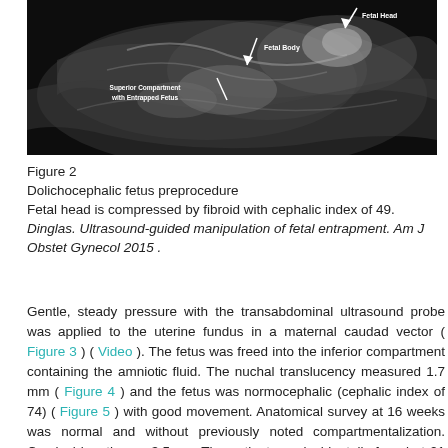[Figure (photo): Ultrasound image showing dolichocephalic fetus preprocedure with labels: Fetal Head, Fetal Body, Superior Compartment with Entrapped Fetus]
Figure 2
Dolichocephalic fetus preprocedure
Fetal head is compressed by fibroid with cephalic index of 49.
Dinglas. Ultrasound-guided manipulation of fetal entrapment. Am J Obstet Gynecol 2015 .
Gentle, steady pressure with the transabdominal ultrasound probe was applied to the uterine fundus in a maternal caudad vector ( Figure 3 ) ( Video ). The fetus was freed into the inferior compartment containing the amniotic fluid. The nuchal translucency measured 1.7 mm ( Figure 4 ) and the fetus was normocephalic (cephalic index of 74) ( Figure 5 ) with good movement. Anatomical survey at 16 weeks was normal and without previously noted compartmentalization. Cervical length was 3.5 cm. The patient was incidentally found at 21 weeks to have no measurable cervix and subsequently developed premature rupture of membranes, delivering a nonviable infant.